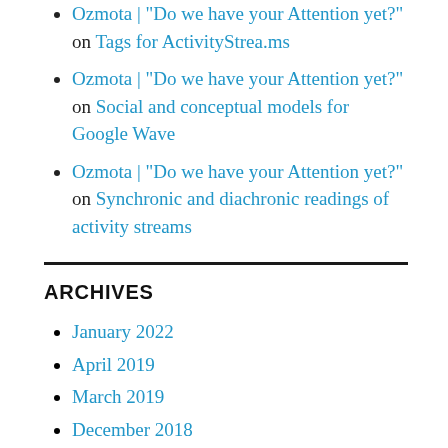Ozmota | "Do we have your Attention yet?" on Tags for ActivityStrea.ms
Ozmota | "Do we have your Attention yet?" on Social and conceptual models for Google Wave
Ozmota | "Do we have your Attention yet?" on Synchronic and diachronic readings of activity streams
ARCHIVES
January 2022
April 2019
March 2019
December 2018